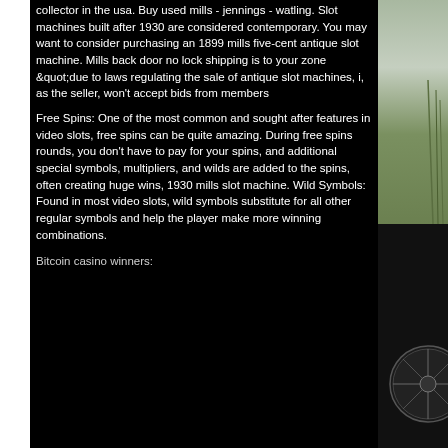collector in the usa. Buy used mills - jennings - watling. Slot machines built after 1930 are considered contemporary. You may want to consider purchasing an 1899 mills five-cent antique slot machine. Mills back door no lock shipping is to your zone &quot;due to laws regulating the sale of antique slot machines, i, as the seller, won't accept bids from members
Free Spins: One of the most common and sought after features in video slots, free spins can be quite amazing. During free spins rounds, you don't have to pay for your spins, and additional special symbols, multipliers, and wilds are added to the spins, often creating huge wins, 1930 mills slot machine. Wild Symbols: Found in most video slots, wild symbols substitute for all other regular symbols and help the player make more winning combinations.
Bitcoin casino winners:
[Figure (photo): Right side shows two photos: top photo is a landscape with green fields, water reflection, and hills in the background under a cloudy sky; bottom photo shows a dark background with what appears to be a decorated umbrella or circular object with white illustrated designs.]